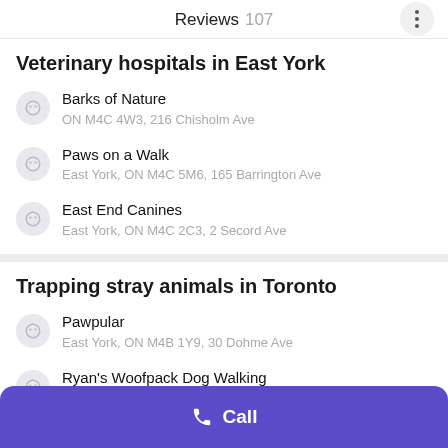Reviews 107
Veterinary hospitals in East York
Barks of Nature
ON M4C 4W3, 216 Chisholm Ave
Paws on a Walk
East York, ON M4C 5M6, 165 Barrington Ave
East End Canines
East York, ON M4C 2C3, 2 Secord Ave
Trapping stray animals in Toronto
Pawpular
East York, ON M4B 1Y9, 30 Dohme Ave
Ryan's Woofpack Dog Walking
ON M4L 3X6, 1829 Queen St E Suite 317